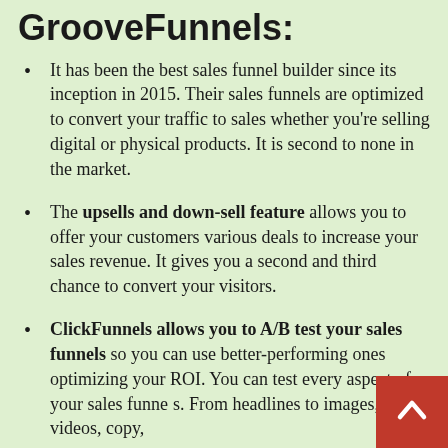GrooveFunnels:
It has been the best sales funnel builder since its inception in 2015. Their sales funnels are optimized to convert your traffic to sales whether you're selling digital or physical products. It is second to none in the market.
The upsells and down-sell feature allows you to offer your customers various deals to increase your sales revenue. It gives you a second and third chance to convert your visitors.
ClickFunnels allows you to A/B test your sales funnels so you can use better-performing ones optimizing your ROI. You can test every aspect of your sales funnels. From headlines to images, videos, copy,